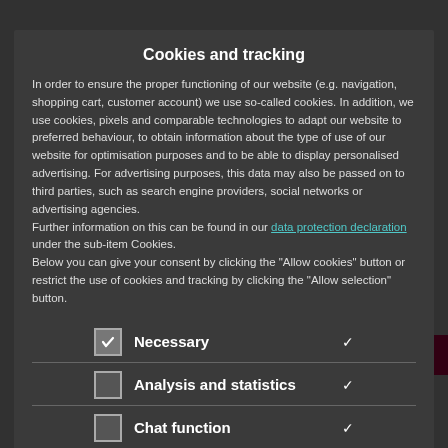Cookies and tracking
In order to ensure the proper functioning of our website (e.g. navigation, shopping cart, customer account) we use so-called cookies. In addition, we use cookies, pixels and comparable technologies to adapt our website to preferred behaviour, to obtain information about the type of use of our website for optimisation purposes and to be able to display personalised advertising. For advertising purposes, this data may also be passed on to third parties, such as search engine providers, social networks or advertising agencies.
Further information on this can be found in our data protection declaration under the sub-item Cookies.
Below you can give your consent by clicking the "Allow cookies" button or restrict the use of cookies and tracking by clicking the "Allow selection" button.
Necessary ✓ (checked)
Analysis and statistics (unchecked)
Chat function (unchecked)
Allow selection
Allow Cookies